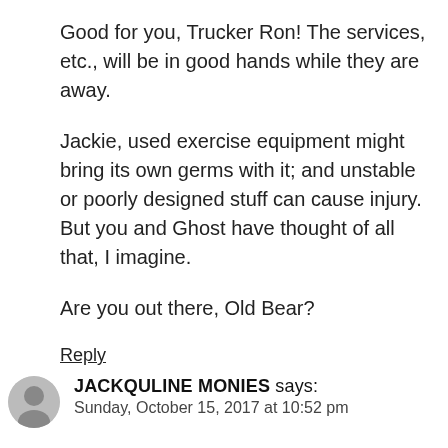Good for you, Trucker Ron! The services, etc., will be in good hands while they are away.
Jackie, used exercise equipment might bring its own germs with it; and unstable or poorly designed stuff can cause injury. But you and Ghost have thought of all that, I imagine.
Are you out there, Old Bear?
Reply
JACKQULINE MONIES says:
Sunday, October 15, 2017 at 10:52 pm